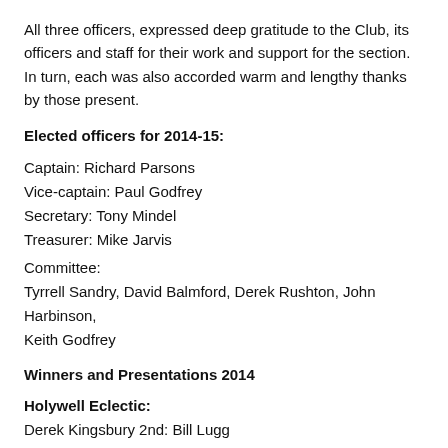All three officers, expressed deep gratitude to the Club, its officers and staff for their work and support for the section. In turn, each was also accorded warm and lengthy thanks by those present.
Elected officers for 2014-15:
Captain: Richard Parsons
Vice-captain: Paul Godfrey
Secretary: Tony Mindel
Treasurer: Mike Jarvis
Committee:
Tyrrell Sandry, David Balmford, Derek Rushton, John Harbinson, Keith Godfrey
Winners and Presentations 2014
Holywell Eclectic:
Derek Kingsbury 2nd: Bill Lugg